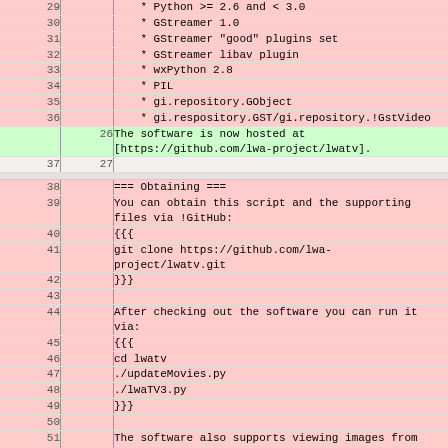| old | new | content |
| --- | --- | --- |
| 29 |  |     * Python >= 2.6 and < 3.0 |
| 30 |  |     * GStreamer 1.0 |
| 31 |  |     * GStreamer "good" plugins set |
| 32 |  |     * GStreamer libav plugin |
| 33 |  |     * wxPython 2.8 |
| 34 |  |     * PIL |
| 35 |  |     * gi.repository.GObject |
| 36 |  |     * gi.respository.GST/gi.repository.!GstVideo |
|  | 26 | The software is now hosted at [https://github.com/lwa-project/lwatv]. |
| 37 | 27 |  |
| 38 |  | === Obtaining === |
| 39 |  | You can obtain this script and the supporting files via !GitHub: |
| 40 |  | {{{ |
| 41 |  | git clone https://github.com/lwa-project/lwatv.git |
| 42 |  | }}} |
| 43 |  |  |
| 44 |  | After checking out the software you can run it via: |
| 45 |  | {{{ |
| 46 |  | cd lwatv |
| 47 |  | ./updateMovies.py |
| 48 |  | ./lwaTV3.py |
| 49 |  | }}} |
| 50 |  |  |
| 51 |  | The software also supports viewing images from the second LWA site, LWA-SV, located on the Sevilleta National Wildlife Refuge via the -2/--lwatv2 flag.  This causes the software to show images from LWA-SV as well as a picture of the LWA-SV site.  This flag is also available for the updateMovies.py script.  To run the software for |